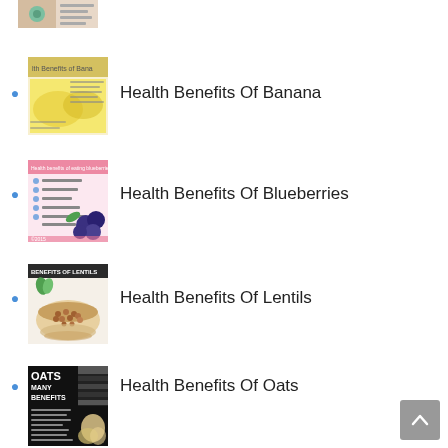[Figure (infographic): Partial thumbnail of a health infographic at top, cropped]
Health Benefits Of Banana
Health Benefits Of Blueberries
Health Benefits Of Lentils
Health Benefits Of Oats